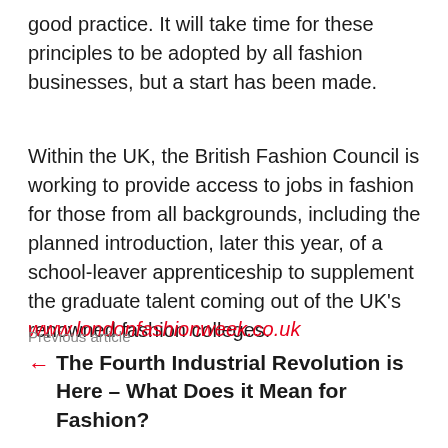good practice. It will take time for these principles to be adopted by all fashion businesses, but a start has been made.
Within the UK, the British Fashion Council is working to provide access to jobs in fashion for those from all backgrounds, including the planned introduction, later this year, of a school-leaver apprenticeship to supplement the graduate talent coming out of the UK's renowned fashion colleges.
www.londonfashionweek.co.uk
Previous article
The Fourth Industrial Revolution is Here – What Does it Mean for Fashion?